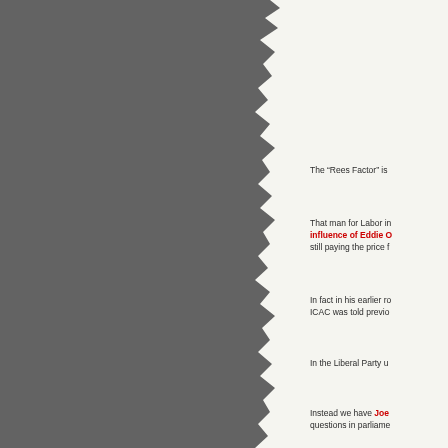[Figure (photo): Left half of page showing a dark grey torn/ragged-edged background panel, likely a photo or graphic element with a torn paper effect on the right edge]
The “Rees Factor” is
That man for Labor in influence of Eddie O still paying the price f
In fact in his earlier ro ICAC was told previo
In the Liberal Party u
Instead we have Joe questions in parliame